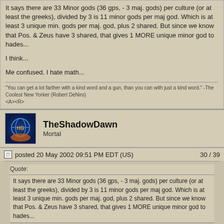It says there are 33 Minor gods (36 gps, - 3 maj. gods) per culture (or at least the greeks), divided by 3 is 11 minor gods per maj god. Which is at least 3 unique min. gods per maj. god, plus 2 shared. But since we know that Pos. & Zeus have 3 shared, that gives 1 MORE unique minor god to hades...
I think...
Me confused. I hate math...
"You can get a lot farther with a kind word and a gun, than you can with just a kind word." -The Coolest New Yorker (Robert DeNiro)
<A><R>
TheShadowDawn
Mortal
posted 20 May 2002 09:51 PM EDT (US)    30 / 39
Quote:
It says there are 33 Minor gods (36 gps, - 3 maj. gods) per culture (or at least the greeks), divided by 3 is 11 minor gods per maj god. Which is at least 3 unique min. gods per maj. god, plus 2 shared. But since we know that Pos. & Zeus have 3 shared, that gives 1 MORE unique minor god to hades...
No...3 gods per age is